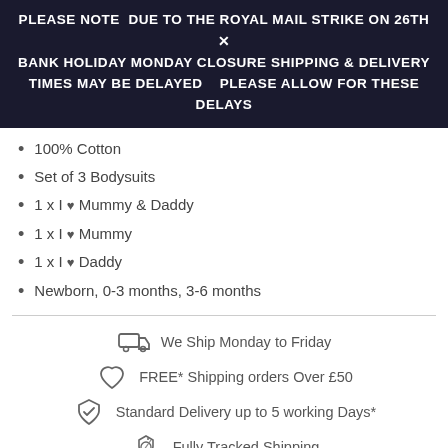PLEASE NOTE  DUE TO THE ROYAL MAIL STRIKE ON 26TH × BANK HOLIDAY MONDAY CLOSURE SHIPPING & DELIVERY TIMES MAY BE DELAYED    PLEASE ALLOW FOR THESE DELAYS
100% Cotton
Set of 3 Bodysuits
1 x I ♥ Mummy & Daddy
1 x I ♥ Mummy
1 x I ♥ Daddy
Newborn, 0-3 months, 3-6 months
We Ship Monday to Friday
FREE* Shipping orders Over £50
Standard Delivery up to 5 working Days*
Fully Tracked Shipping
All our Packaging is Eco-Friendly